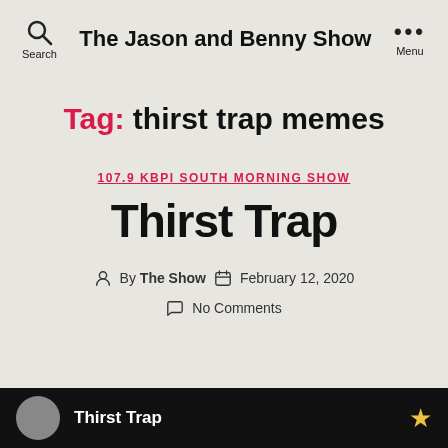Search  The Jason and Benny Show  ••• Menu
Tag: thirst trap memes
107.9 KBPI SOUTH MORNING SHOW
Thirst Trap
By The Show  February 12, 2020  No Comments
Thirst Trap ★